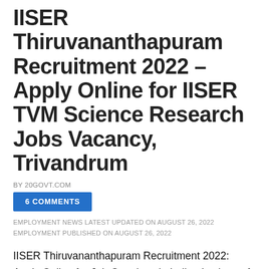IISER Thiruvananthapuram Recruitment 2022 – Apply Online for IISER TVM Science Research Jobs Vacancy, Trivandrum
BY 20GOVT.COM
6 COMMENTS
EMPLOYMENT NEWS LATEST UPDATED ON AUGUST 26, 2022
EMPLOYMENT PUBLISHED ON AUGUST 26, 2022
IISER Thiruvananthapuram Recruitment 2022: Apply Online for Job Openings in Indian Institute of Science Education and Research, Thiruvananthapuram at www.iisertvm.ac.in IISER Thiruvananthapuram Recruitment 2022: Read